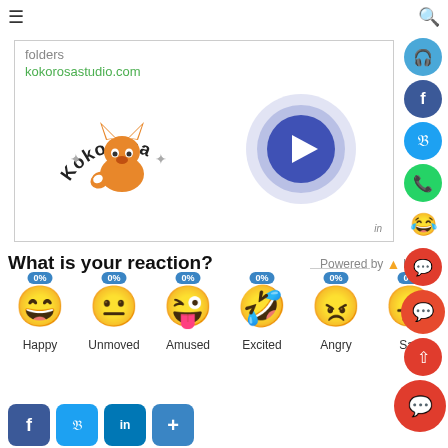Navigation header with hamburger menu and search icon
[Figure (screenshot): Advertisement for kokorosastudio.com showing Kokorosa fox logo and a play button circle. Includes text 'folders' and link 'kokorosastudio.com'.]
What is your reaction?
Powered by Vuukle
[Figure (infographic): Six emoji reaction buttons: Happy 0%, Unmoved 0%, Amused 0%, Excited 0%, Angry 0%, Sad 0%]
[Figure (infographic): Social share buttons row: Facebook, Twitter, LinkedIn, Plus]
[Figure (infographic): Right-side social icon bar: headphones, Facebook, Twitter, WhatsApp, laugh emoji, chat, chat bubble, share]